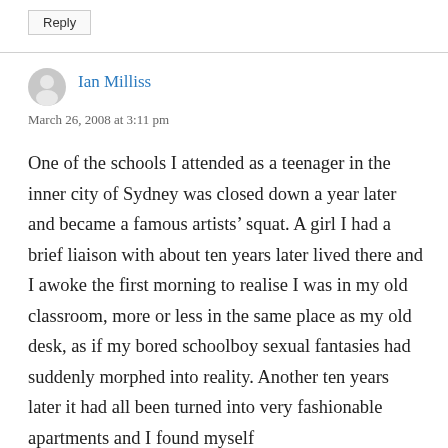Reply
Ian Milliss
March 26, 2008 at 3:11 pm
One of the schools I attended as a teenager in the inner city of Sydney was closed down a year later and became a famous artists’ squat. A girl I had a brief liaison with about ten years later lived there and I awoke the first morning to realise I was in my old classroom, more or less in the same place as my old desk, as if my bored schoolboy sexual fantasies had suddenly morphed into reality. Another ten years later it had all been turned into very fashionable apartments and I found myself